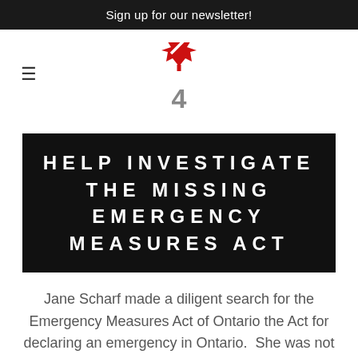Sign up for our newsletter!
[Figure (logo): Logo with Canadian maple leaf in red and the number 4 in grey below it, with a checkmark/slash graphic]
HELP INVESTIGATE THE MISSING EMERGENCY MEASURES ACT
Jane Scharf made a diligent search for the Emergency Measures Act of Ontario the Act for declaring an emergency in Ontario. She was not able to find any trace of it as it has been scrubbed from all formal records: the Ontario